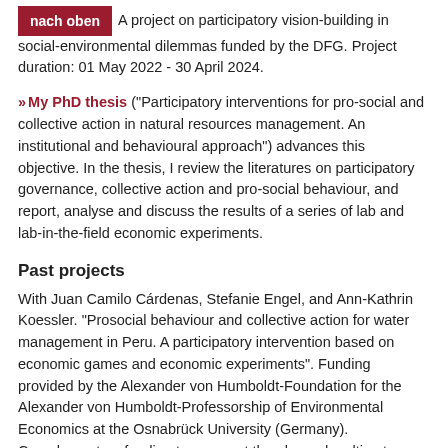nach oben  A project on participatory vision-building in social-environmental dilemmas funded by the DFG. Project duration: 01 May 2022 - 30 April 2024.
My PhD thesis ("Participatory interventions for pro-social and collective action in natural resources management. An institutional and behavioural approach") advances this objective. In the thesis, I review the literatures on participatory governance, collective action and pro-social behaviour, and report, analyse and discuss the results of a series of lab and lab-in-the-field economic experiments.
Past projects
With Juan Camilo Cárdenas, Stefanie Engel, and Ann-Kathrin Koessler. "Prosocial behaviour and collective action for water management in Peru. A participatory intervention based on economic games and economic experiments". Funding provided by the Alexander von Humboldt-Foundation for the Alexander von Humboldt-Professorship of Environmental Economics at the Osnabrück University (Germany). Complementary funding to carry out the planned multi-actor workshops was primarly provided by the Environmental Program of GIZ in Peru (Pro Ambiente); the MERESE-FIDA project and the Institute for Nature, Earth and Energy (INTE) at the Pontificia Universidad Católica del Perú (PUCR). The management